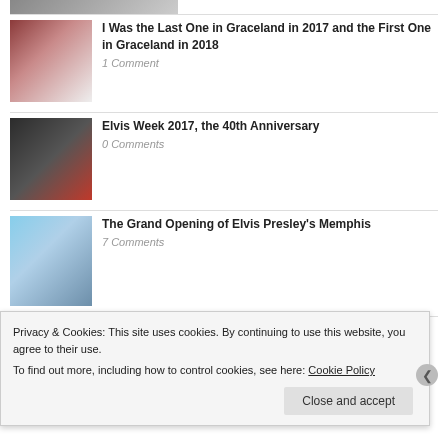[Figure (photo): Cropped thumbnail image at top, partially visible]
I Was the Last One in Graceland in 2017 and the First One in Graceland in 2018
1 Comment
Elvis Week 2017, the 40th Anniversary
0 Comments
The Grand Opening of Elvis Presley's Memphis
7 Comments
Opening Weekend of the Guest House at
Privacy & Cookies: This site uses cookies. By continuing to use this website, you agree to their use.
To find out more, including how to control cookies, see here: Cookie Policy
Close and accept